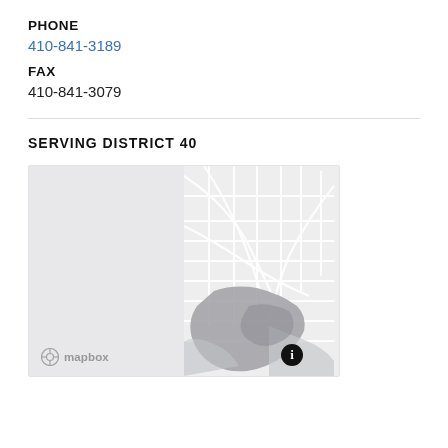PHONE
410-841-3189
FAX
410-841-3079
SERVING DISTRICT 40
[Figure (map): Mapbox map showing District 40, Baltimore area. Left portion is light gray (unshaded area), right portion shows street grid of Baltimore with darker gray shaded district region. Mapbox logo in bottom-left, info button in bottom-right.]